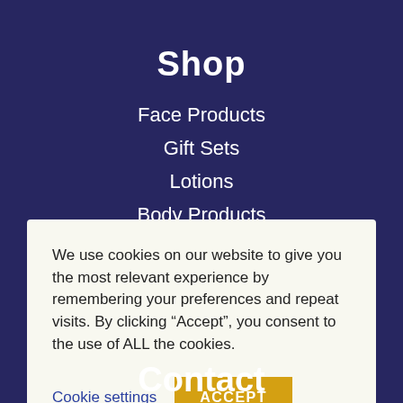Shop
Face Products
Gift Sets
Lotions
Body Products
Men's Products
We use cookies on our website to give you the most relevant experience by remembering your preferences and repeat visits. By clicking “Accept”, you consent to the use of ALL the cookies.
Cookie settings
ACCEPT
Contact